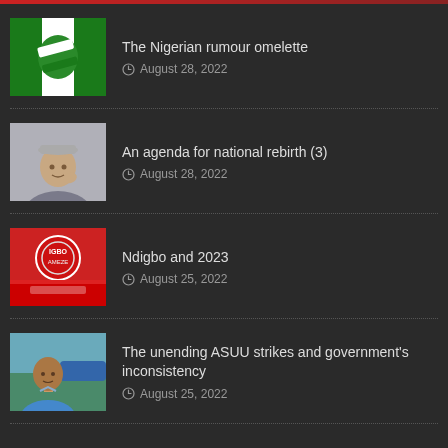The Nigerian rumour omelette — August 28, 2022
An agenda for national rebirth (3) — August 28, 2022
Ndigbo and 2023 — August 25, 2022
The unending ASUU strikes and government's inconsistency — August 25, 2022